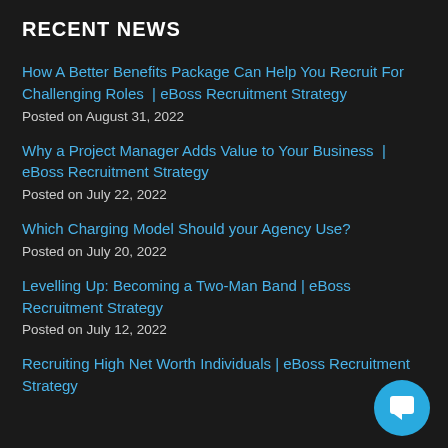RECENT NEWS
How A Better Benefits Package Can Help You Recruit For Challenging Roles  | eBoss Recruitment Strategy
Posted on August 31, 2022
Why a Project Manager Adds Value to Your Business  | eBoss Recruitment Strategy
Posted on July 22, 2022
Which Charging Model Should your Agency Use?
Posted on July 20, 2022
Levelling Up: Becoming a Two-Man Band | eBoss Recruitment Strategy
Posted on July 12, 2022
Recruiting High Net Worth Individuals | eBoss Recruitment Strategy